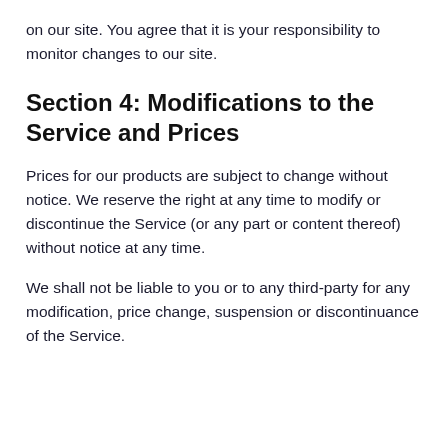on our site. You agree that it is your responsibility to monitor changes to our site.
Section 4: Modifications to the Service and Prices
Prices for our products are subject to change without notice. We reserve the right at any time to modify or discontinue the Service (or any part or content thereof) without notice at any time.
We shall not be liable to you or to any third-party for any modification, price change, suspension or discontinuance of the Service.